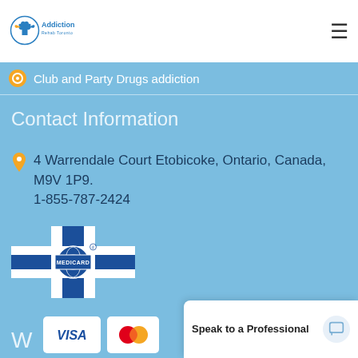[Figure (logo): Addiction Rehab Toronto logo with bird/person icon in blue circle]
Club and Party Drugs addiction
Contact Information
4 Warrendale Court Etobicoke, Ontario, Canada, M9V 1P9. 1-855-787-2424
[Figure (logo): Medicard logo - blue cross with MEDICARD text and registered trademark symbol]
[Figure (logo): iFinance Medical logo with blue swirl icon]
[Figure (logo): Visa card logo partially visible]
[Figure (logo): Mastercard logo partially visible]
Speak to a Professional